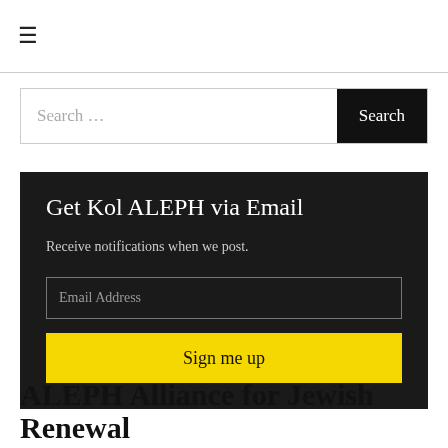≡
Search ...
Get Kol ALEPH via Email
Receive notifications when we post.
Email Address
Sign me up
ALEPH Alliance for Jewish Renewal